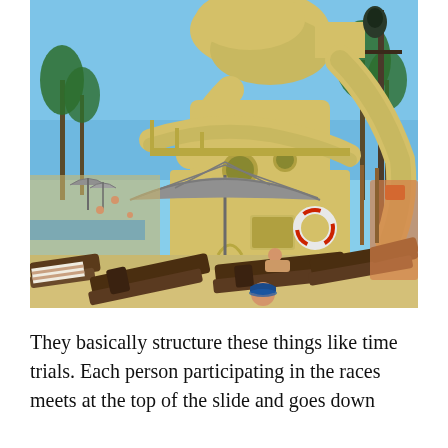[Figure (photo): Outdoor water park scene featuring a large yellow spiral water slide tower with multiple curved tube sections. In the foreground are brown lounge chairs and a patio umbrella. Palm trees and pool area visible in the background. A person wearing a blue cap is partially visible at the bottom of the image.]
They basically structure these things like time trials. Each person participating in the races meets at the top of the slide and goes down